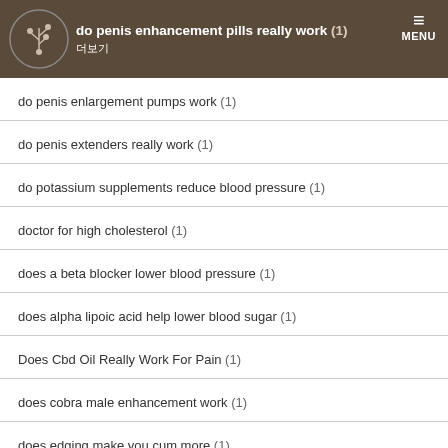do penis enhancement pills really work (1) 더보기
do penis enlargement pumps work (1)
do penis extenders really work (1)
do potassium supplements reduce blood pressure (1)
doctor for high cholesterol (1)
does a beta blocker lower blood pressure (1)
does alpha lipoic acid help lower blood sugar (1)
Does Cbd Oil Really Work For Pain (1)
does cobra male enhancement work (1)
does edging make you cum more (1)
does extenze work (1)